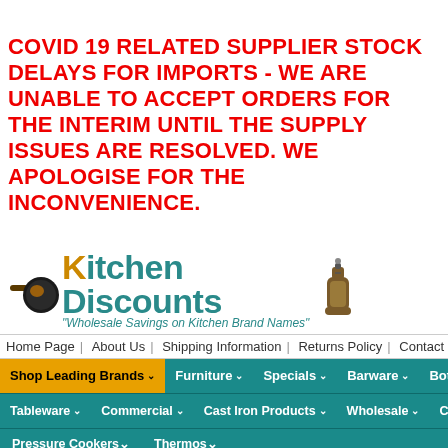COVID 19 RELATED SUPPLIER STOCK DELAYS FOR IMPORTS - WE ARE UNABLE TO ACCEPT ORDERS FOR THE INTERIM UNTIL THE SUPPLY ISSUES ARE RESOLVED. WE APOLOGISE FOR THE INCONVENIENCE.
[Figure (logo): Kitchen Discounts logo with pan graphic, teal text, and tagline 'Wholesale Savings on Kitchen Brand Names']
Home Page | About Us | Shipping Information | Returns Policy | Contact Us | Pay
Shop Leading Brands | Furniture | Specials | Barware | Bottles | S
Tableware | Commercial | Cast Iron Products | Wholesale | Cleaning
Pressure Cookers | Thermos
FREE SHIPPING When You Spend Over $200*
Shop By Category
Home > Bakeware > Cake Decorating > PA
Bakeware